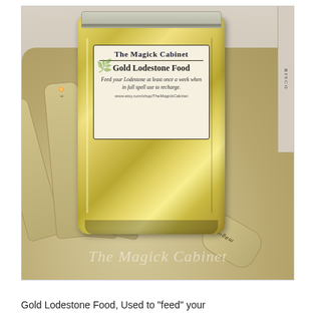[Figure (photo): A gold metallic resealable bag labeled 'The Magick Cabinet - Gold Lodestone Food' held in a decorative pale hand with text/markings on the fingers. The bag has a product label describing lodestone feeding instructions. A watermark reading 'The Magick Cabinet' appears across the bottom of the photo.]
Gold Lodestone Food, Used to "feed" your